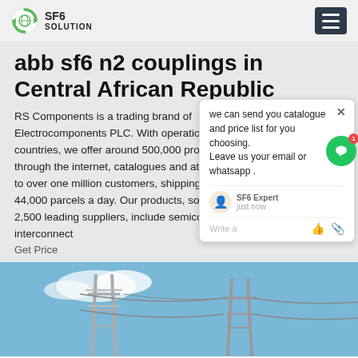SF6 SOLUTION
abb sf6 n2 couplings in Central African Republic
RS Components is a trading brand of Electrocomponents PLC. With operations in over countries, we offer around 500,000 products through the internet, catalogues and at our counters to over one million customers, shipping more than 44,000 parcels a day. Our products, sourced from 2,500 leading suppliers, include semiconductors, interconnect
Get Price
[Figure (photo): Electrical transmission tower / power line infrastructure against a blue sky with white clouds]
[Figure (other): Chat popup overlay: 'we can send you catalogue and price list for you choosing. Leave us your email or whatsapp .' with SF6 Expert avatar and just now timestamp]